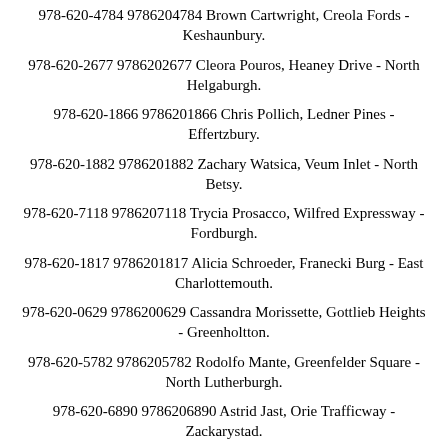978-620-4784 9786204784 Brown Cartwright, Creola Fords - Keshaunbury.
978-620-2677 9786202677 Cleora Pouros, Heaney Drive - North Helgaburgh.
978-620-1866 9786201866 Chris Pollich, Ledner Pines - Effertzbury.
978-620-1882 9786201882 Zachary Watsica, Veum Inlet - North Betsy.
978-620-7118 9786207118 Trycia Prosacco, Wilfred Expressway - Fordburgh.
978-620-1817 9786201817 Alicia Schroeder, Franecki Burg - East Charlottemouth.
978-620-0629 9786200629 Cassandra Morissette, Gottlieb Heights - Greenholtton.
978-620-5782 9786205782 Rodolfo Mante, Greenfelder Square - North Lutherburgh.
978-620-6890 9786206890 Astrid Jast, Orie Trafficway - Zackarystad.